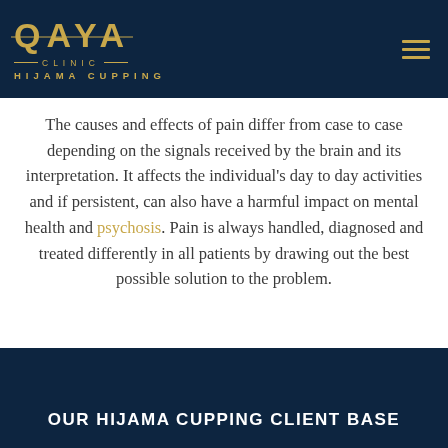QAYA CLINIC HIJAMA CUPPING
The causes and effects of pain differ from case to case depending on the signals received by the brain and its interpretation. It affects the individual's day to day activities and if persistent, can also have a harmful impact on mental health and psychosis. Pain is always handled, diagnosed and treated differently in all patients by drawing out the best possible solution to the problem.
OUR HIJAMA CUPPING CLIENT BASE